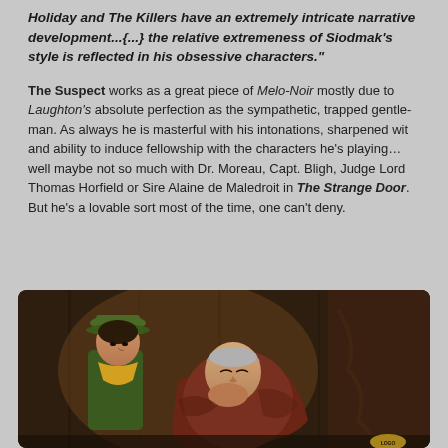Holiday and The Killers have an extremely intricate narrative development...{...} the relative extremeness of Siodmak's style is reflected in his obsessive characters."
The Suspect works as a great piece of Melo-Noir mostly due to Laughton's absolute perfection as the sympathetic, trapped gentle-man. As always he is masterful with his intonations, sharpened wit and ability to induce fellowship with the characters he's playing… well maybe not so much with Dr. Moreau, Capt. Bligh, Judge Lord Thomas Horfield or Sire Alaine de Maledroit in The Strange Door. But he's a lovable sort most of the time, one can't deny.
[Figure (photo): A vintage color film still showing a young child wearing a green hat and yellow neckerchief looking down at an older man resting his chin on his hand, dressed in brown/red clothing. Warm, moody lighting with dark background.]